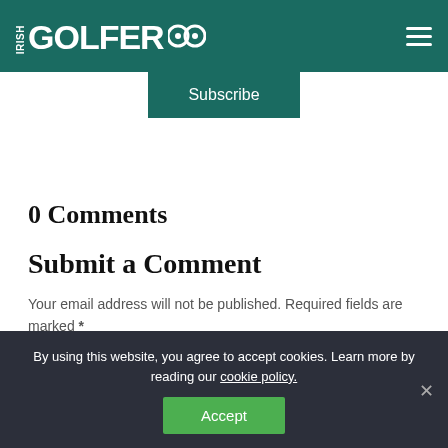IRISH GOLFER
Subscribe
0 Comments
Submit a Comment
Your email address will not be published. Required fields are marked *
Comment *
By using this website, you agree to accept cookies. Learn more by reading our cookie policy.
Accept